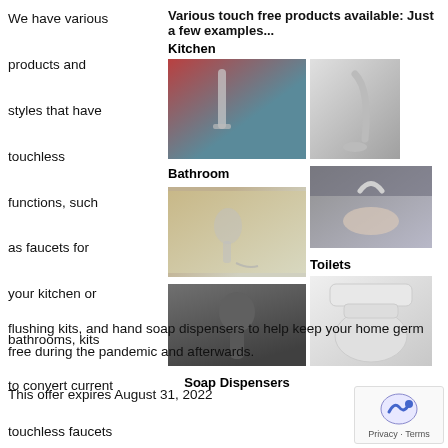We have various products and styles that have touchless functions, such as faucets for your kitchen or bathrooms, kits to convert current touchless faucets to voice activated, toilet flushing kits, and hand soap dispensers to help keep your home germ free during the pandemic and afterwards.
Various touch free products available: Just a few examples...
Kitchen
[Figure (photo): Person using a touchless kitchen faucet at a sink]
[Figure (photo): Chrome kitchen faucet product photo]
Bathroom
[Figure (photo): Touchless bathroom faucet with hand underneath]
Soap Dispensers
[Figure (photo): Automatic soap dispenser product photo]
Toilets
[Figure (photo): White toilet product photo]
[Figure (photo): Hand washing under bathroom faucet]
This offer expires August 31, 2022